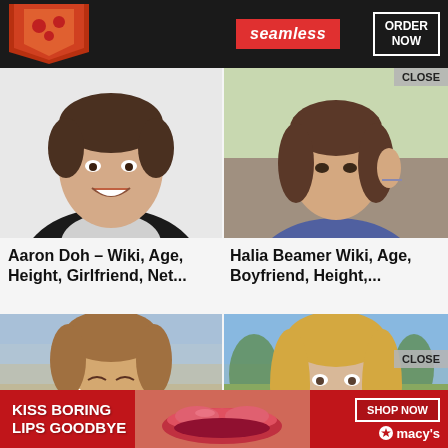[Figure (screenshot): Seamless food delivery advertisement banner at top with pizza image, seamless logo in red, and ORDER NOW button in white border on dark background]
[Figure (photo): Photo of Aaron Doh, a young man with dark hair smiling, wearing a black jacket]
[Figure (photo): Photo of Halia Beamer, a young woman in a purple tank top, with CLOSE button overlay]
Aaron Doh – Wiki, Age, Height, Girlfriend, Net...
Halia Beamer Wiki, Age, Boyfriend, Height,...
[Figure (photo): Photo of a smiling young man with brown hair, city view in background]
[Figure (photo): Photo of a young blonde woman outdoors with trees, with CLOSE button overlay]
[Figure (screenshot): Macy's advertisement banner at bottom: KISS BORING LIPS GOODBYE with SHOP NOW button and Macy's star logo]